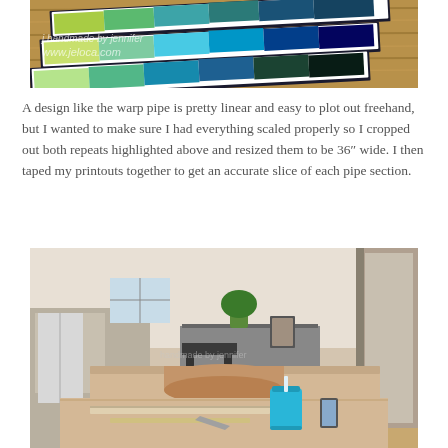[Figure (photo): Photo of colorful striped wall art panels with green, teal, and blue colors on a wooden background, with a watermark reading 'handmade by jennifer www.jeloca.com']
A design like the warp pipe is pretty linear and easy to plot out freehand, but I wanted to make sure I had everything scaled properly so I cropped out both repeats highlighted above and resized them to be 36″ wide. I then taped my printouts together to get an accurate slice of each pipe section.
[Figure (photo): Photo of a dining table with large rolls of brown kraft paper spread out on it, with a blue tumbler cup, rulers, and crafting tools visible. Kitchen and hallway visible in the background, with a plant on a cabinet.]